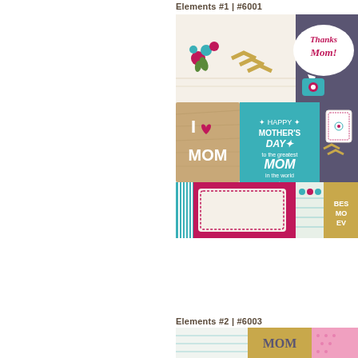Elements #1 | #6001
[Figure (illustration): Mother's Day scrapbook elements collage featuring cards with 'Thanks Mom!', 'I Love MOM', 'Happy Mother's Day to the greatest MOM in the world', flowers, teal telephone, decorative frames, striped elements, and 'Best Mom Ever' card]
Elements #2 | #6003
[Figure (illustration): Mother's Day scrapbook elements #2 showing lined paper, MOM text, house icon, and pink polka dot elements]